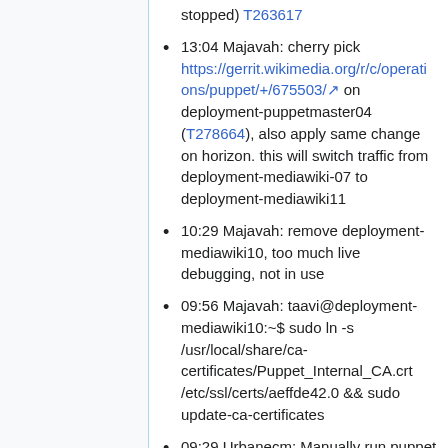stopped) T263617
13:04 Majavah: cherry pick https://gerrit.wikimedia.org/r/c/operations/puppet/+/675503/ on deployment-puppetmaster04 (T278664), also apply same change on horizon. this will switch traffic from deployment-mediawiki-07 to deployment-mediawiki11
10:29 Majavah: remove deployment-mediawiki10, too much live debugging, not in use
09:56 Majavah: taavi@deployment-mediawiki10:~$ sudo ln -s /usr/local/share/ca-certificates/Puppet_Internal_CA.crt /etc/ssl/certs/aeffde42.0 && sudo update-ca-certificates
09:29 Urbanecm: Manually run puppet on mediawiki10